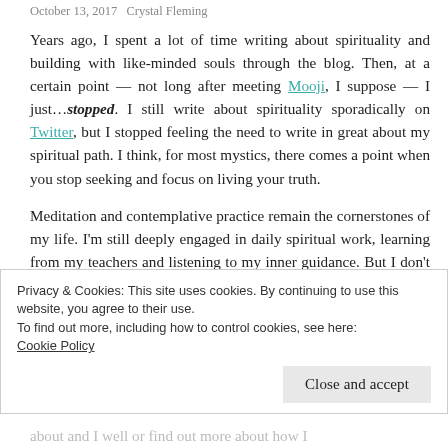October 13, 2017   Crystal Fleming
Years ago, I spent a lot of time writing about spirituality and building with like-minded souls through the blog. Then, at a certain point — not long after meeting Mooji, I suppose — I just…stopped. I still write about spirituality sporadically on Twitter, but I stopped feeling the need to write in great about my spiritual path. I think, for most mystics, there comes a point when you stop seeking and focus on living your truth.
Meditation and contemplative practice remain the cornerstones of my life. I'm still deeply engaged in daily spiritual work, learning from my teachers and listening to my inner guidance. But I don't really talk about the details
Privacy & Cookies: This site uses cookies. By continuing to use this website, you agree to their use.
To find out more, including how to control cookies, see here:
Cookie Policy
Close and accept